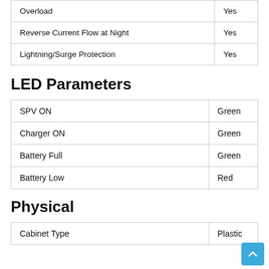| Feature | Value |
| --- | --- |
| Overload | Yes |
| Reverse Current Flow at Night | Yes |
| Lightning/Surge Protection | Yes |
LED Parameters
| Parameter | Value |
| --- | --- |
| SPV ON | Green |
| Charger ON | Green |
| Battery Full | Green |
| Battery Low | Red |
Physical
| Parameter | Value |
| --- | --- |
| Cabinet Type | Plastic |